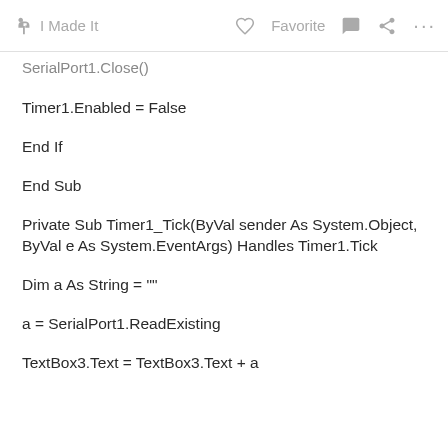I Made It   Favorite
SerialPort1.Close()
Timer1.Enabled = False
End If
End Sub
Private Sub Timer1_Tick(ByVal sender As System.Object, ByVal e As System.EventArgs) Handles Timer1.Tick
Dim a As String = ""
a = SerialPort1.ReadExisting
TextBox3.Text = TextBox3.Text + a